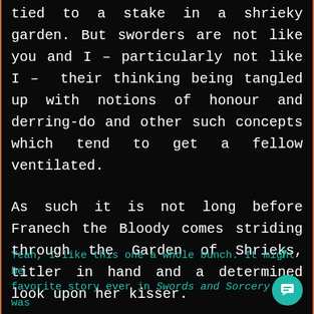tied to a stake in a shrieky garden. But sworders are not like you and I – particularly not like I –  their thinking being tangled up with notions of honour and derring-do and other such concepts which tend to get a fellow ventilated.

As such it is not long before Franech the Bloody comes striding through the Garden of Shrieks, titler in hand and a determined look upon her kisser.
7
Yeah, I like this one a whole bunch. It might be favorite story ever in Swords and Sorcery (it was